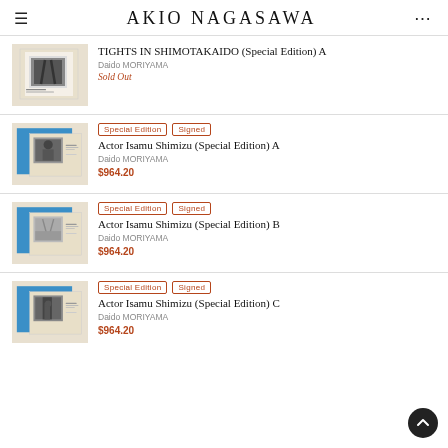AKIO NAGASAWA
TIGHTS IN SHIMOTAKAIDO (Special Edition) A — Daido MORIYAMA — Sold Out
Special Edition  Signed — Actor Isamu Shimizu (Special Edition) A — Daido MORIYAMA — $964.20
Special Edition  Signed — Actor Isamu Shimizu (Special Edition) B — Daido MORIYAMA — $964.20
Special Edition  Signed — Actor Isamu Shimizu (Special Edition) C — Daido MORIYAMA — $964.20